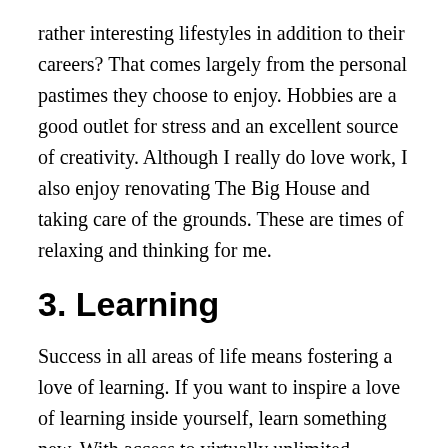rather interesting lifestyles in addition to their careers? That comes largely from the personal pastimes they choose to enjoy. Hobbies are a good outlet for stress and an excellent source of creativity. Although I really do love work, I also enjoy renovating The Big House and taking care of the grounds. These are times of relaxing and thinking for me.
3. Learning
Success in all areas of life means fostering a love of learning. If you want to inspire a love of learning inside yourself, learn something new. With access to virtually unlimited